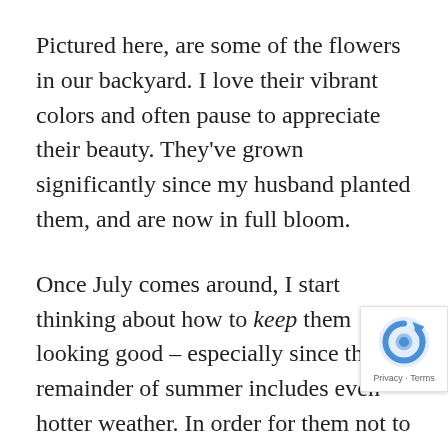Pictured here, are some of the flowers in our backyard. I love their vibrant colors and often pause to appreciate their beauty. They've grown significantly since my husband planted them, and are now in full bloom.
Once July comes around, I start thinking about how to keep them looking good – especially since the remainder of summer includes even hotter weather. In order for them not to die, they'll need more sunshine, plenty of water and a little fertilizer to
So what about you? In order to survive this